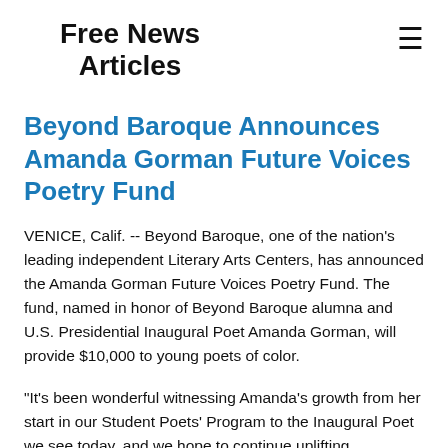Free News Articles
Beyond Baroque Announces Amanda Gorman Future Voices Poetry Fund
VENICE, Calif. -- Beyond Baroque, one of the nation's leading independent Literary Arts Centers, has announced the Amanda Gorman Future Voices Poetry Fund. The fund, named in honor of Beyond Baroque alumna and U.S. Presidential Inaugural Poet Amanda Gorman, will provide $10,000 to young poets of color.
"It's been wonderful witnessing Amanda's growth from her start in our Student Poets' Program to the Inaugural Poet we see today, and we hope to continue uplifting